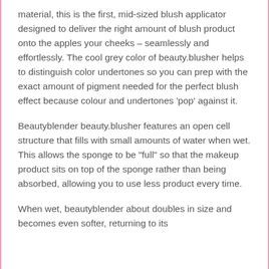material, this is the first, mid-sized blush applicator designed to deliver the right amount of blush product onto the apples your cheeks – seamlessly and effortlessly. The cool grey color of beauty.blusher helps to distinguish color undertones so you can prep with the exact amount of pigment needed for the perfect blush effect because colour and undertones 'pop' against it.
Beautyblender beauty.blusher features an open cell structure that fills with small amounts of water when wet. This allows the sponge to be "full" so that the makeup product sits on top of the sponge rather than being absorbed, allowing you to use less product every time.
When wet, beautyblender about doubles in size and becomes even softer, returning to its